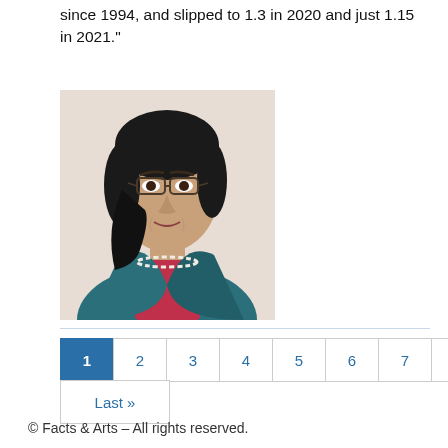since 1994, and slipped to 1.3 in 2020 and just 1.15 in 2021."
[Figure (photo): Professional headshot of an Asian woman wearing glasses, a teal/blue blazer, red top, and pearl necklace.]
1 2 3 4 5 6 7 8 9 >> Last »
© Facts & Arts – All rights reserved.